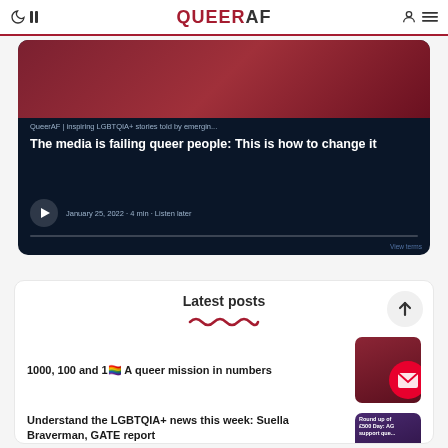QueerAF
[Figure (screenshot): Podcast player card on dark navy background showing QueerAF podcast episode titled 'The media is failing queer people: This is how to change it', January 25, 2022, 4 min, Listen later]
QueerAF | inspiring LGBTQIA+ stories told by emergin...
The media is failing queer people: This is how to change it
January 25, 2022 · 4 min · Listen later
Latest posts
1000, 100 and 1🏳️‍🌈 A queer mission in numbers
Understand the LGBTQIA+ news this week: Suella Braverman, GATE report